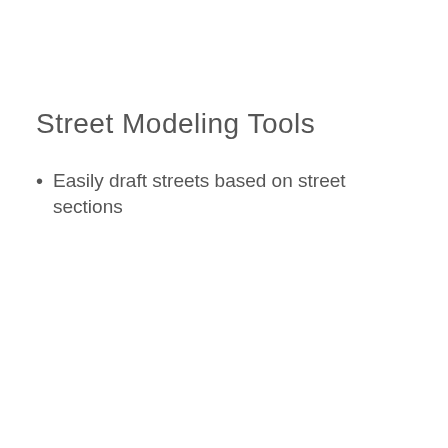Street Modeling Tools
Easily draft streets based on street sections